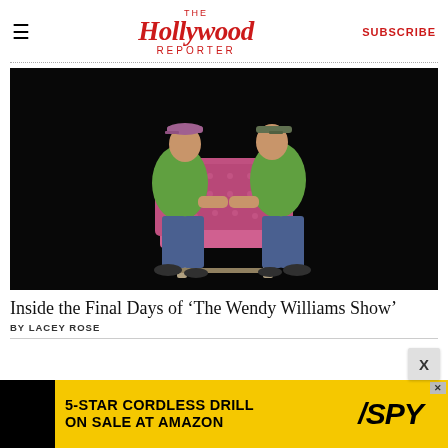The Hollywood Reporter | SUBSCRIBE
[Figure (photo): Two men in green shirts and baseball caps carrying a pink tufted armchair against a black background]
Inside the Final Days of ‘The Wendy Williams Show’
BY LACEY ROSE
[Figure (other): Advertisement: 5-STAR CORDLESS DRILL ON SALE AT AMAZON — SPY]